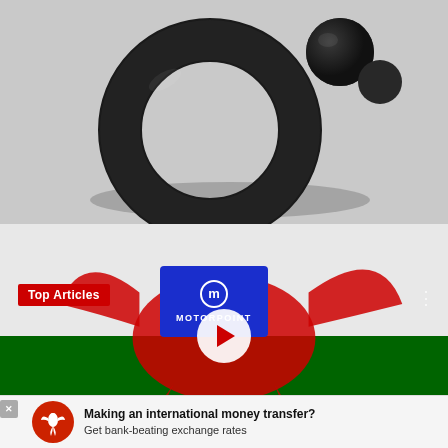[Figure (photo): Black silicone ring/toy with two spherical bulges, photographed on a light gray background]
[Figure (screenshot): Video thumbnail showing a person wearing a Motorpoint-branded apron/bib in front of a Welsh flag with red dragons. A white play button is overlaid in the center. 'Top Articles' badge in red top-left. 'READ MORE' red button bottom-right. Three-dots menu top-right. Navigation arrows and X close button at bottom.]
[Figure (screenshot): Advertisement banner at bottom: red circular logo with eagle/bird, text 'Making an international money transfer? Get bank-beating exchange rates']